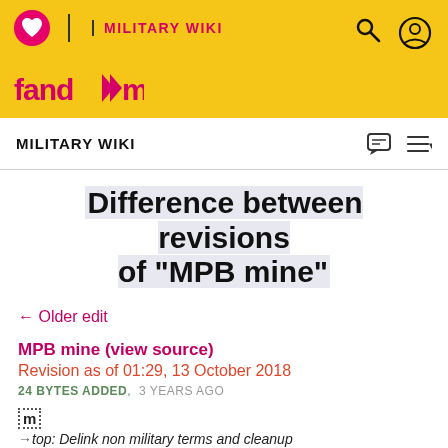MILITARY WIKI
Difference between revisions of "MPB mine"
← Older edit
MPB mine (view source)
Revision as of 01:29, 13 October 2018
24 BYTES ADDED,  3 YEARS AGO
m
→top: Delink non military terms and cleanup
| (5 intermediate revisions by 2 users not shown) |
| [[ImageFile:Mina-MPB.jpg|thumb|250px|MPB mine]] |